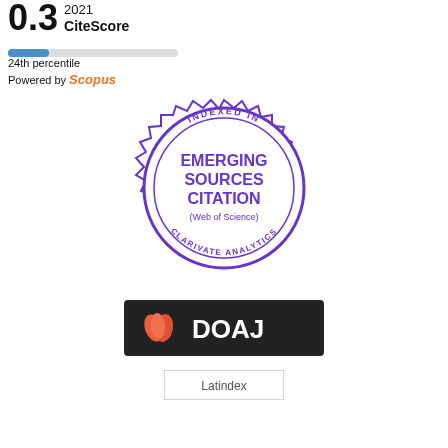0.3 2021 CiteScore
[Figure (infographic): Percentile bar showing 24th percentile, blue fill on left portion of grey bar]
24th percentile
Powered by Scopus
[Figure (logo): Circular badge: INDEXED IN EMERGING SOURCES CITATION (Web of Science) CLARIVATE ANALYTICS, in purple with star/notch border]
[Figure (logo): DOAJ logo — black background with orange leaf icon and white bold text DOAJ]
[Figure (logo): Latindex logo placeholder]